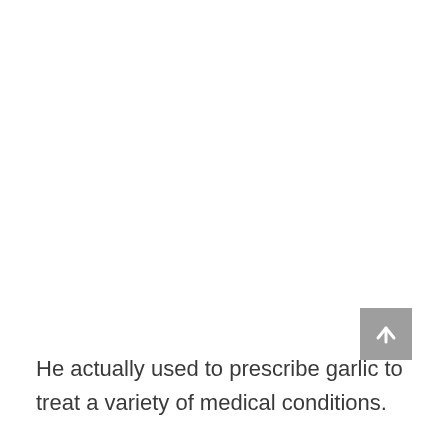[Figure (other): A scroll-to-top button (grey square with white upward arrow) positioned in the lower right area of the page.]
He actually used to prescribe garlic to treat a variety of medical conditions.